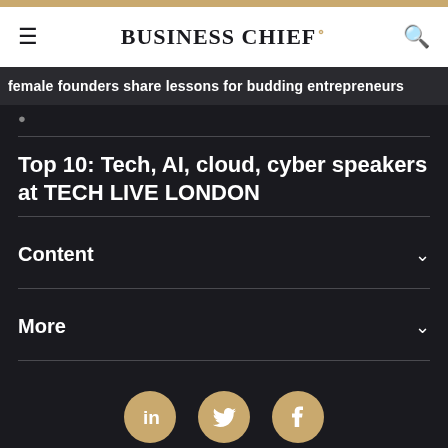BUSINESS CHIEF
female founders share lessons for budding entrepreneurs
Top 10: Tech, AI, cloud, cyber speakers at TECH LIVE LONDON
Content
More
[Figure (other): Social media share buttons: LinkedIn, Twitter, Facebook]